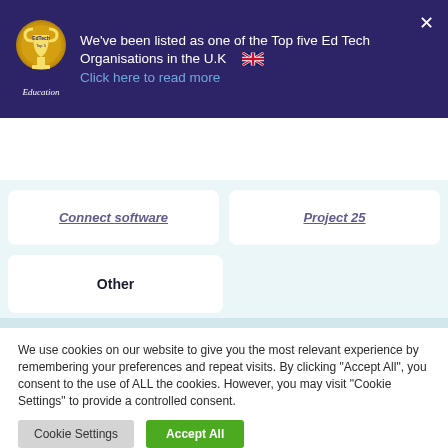[Figure (screenshot): Dark purple banner with trophy award icon, text about Top five Ed Tech Organisations in the UK, and a UK flag emoji. Includes a 'Click here to read more' link in blue. Close button (X) in top right.]
[Figure (logo): ChangingEducation Group logo with hamburger menu icon]
Connect software
Project 25
Other
We use cookies on our website to give you the most relevant experience by remembering your preferences and repeat visits. By clicking "Accept All", you consent to the use of ALL the cookies. However, you may visit "Cookie Settings" to provide a controlled consent.
Cookie Settings
Accept All